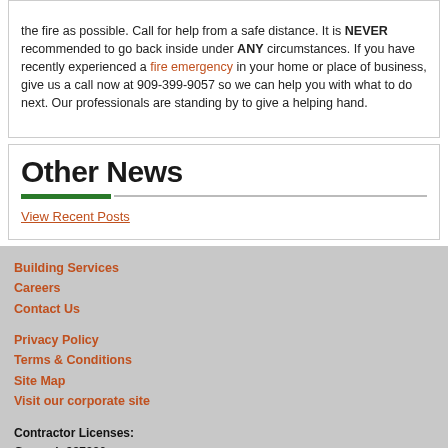the fire as possible. Call for help from a safe distance. It is NEVER recommended to go back inside under ANY circumstances. If you have recently experienced a fire emergency in your home or place of business, give us a call now at 909-399-9057 so we can help you with what to do next. Our professionals are standing by to give a helping hand.
Other News
View Recent Posts
Building Services
Careers
Contact Us
Privacy Policy
Terms & Conditions
Site Map
Visit our corporate site
Contractor Licenses:
General: 987330
more info